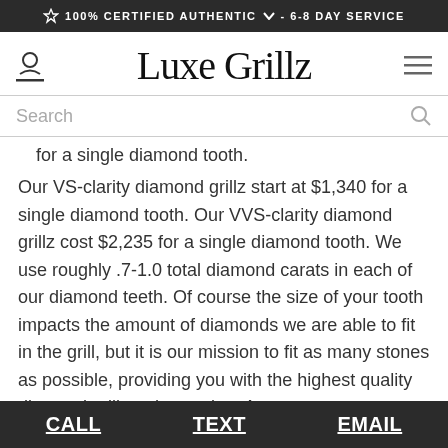🏆 100% CERTIFIED AUTHENTIC ∨ - 6-8 DAY SERVICE
Luxe Grillz
Search
for a single diamond tooth.
Our VS-clarity diamond grillz start at $1,340 for a single diamond tooth. Our VVS-clarity diamond grillz cost $2,235 for a single diamond tooth. We use roughly .7-1.0 total diamond carats in each of our diamond teeth. Of course the size of your tooth impacts the amount of diamonds we are able to fit in the grill, but it is our mission to fit as many stones as possible, providing you with the highest quality diamond grill on the market. At
CALL   TEXT   EMAIL